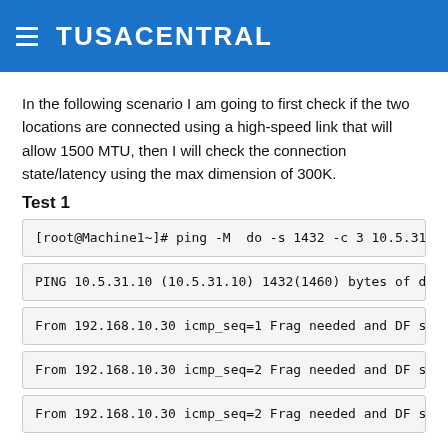TUSACENTRAL
In the following scenario I am going to first check if the two locations are connected using a high-speed link that will allow 1500 MTU, then I will check the connection state/latency using the max dimension of 300K.
Test 1
[root@Machine1~]# ping -M  do -s 1432 -c 3 10.5.31.
PING 10.5.31.10 (10.5.31.10) 1432(1460) bytes of da
From 192.168.10.30 icmp_seq=1 Frag needed and DF se
From 192.168.10.30 icmp_seq=2 Frag needed and DF se
From 192.168.10.30 icmp_seq=2 Frag needed and DF se